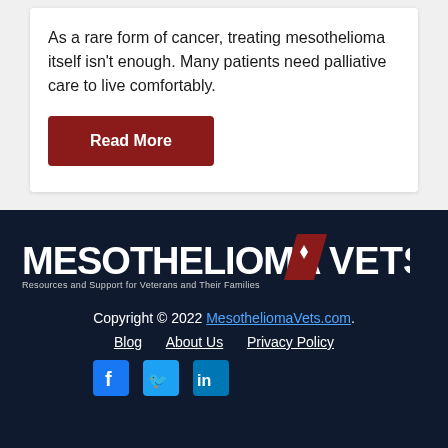As a rare form of cancer, treating mesothelioma itself isn't enough. Many patients need palliative care to live comfortably.
Read More
[Figure (logo): MesotheliomaVets logo — white text 'MESOTHELIOMA' with dark red chevron/slash 'VETS' and tagline 'Resources and Support for Veterans and Their Families']
Copyright © 2022 MesotheliomaVets.com. Blog  About Us  Privacy Policy